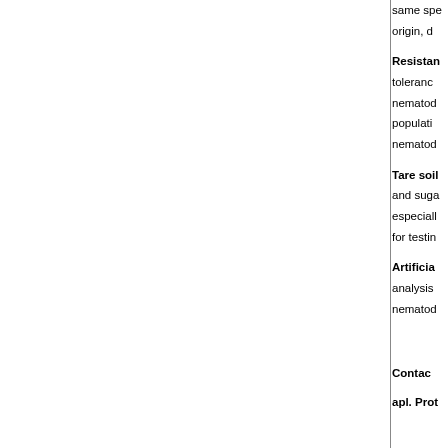same spe origin, d
Resistan
toleranc nematod populati nematod
Tare soil
and suga especiall for testin
Artificia
analysis nematod
Contac
apl. Prot